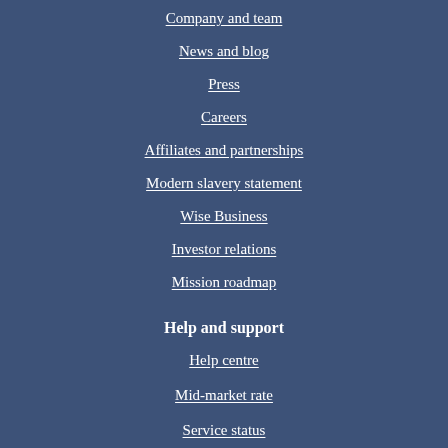Company and team
News and blog
Press
Careers
Affiliates and partnerships
Modern slavery statement
Wise Business
Investor relations
Mission roadmap
Help and support
Help centre
Mid-market rate
Service status
Learn more
International money transfers
Swift/BIC codes
Currency converter
IBAN codes